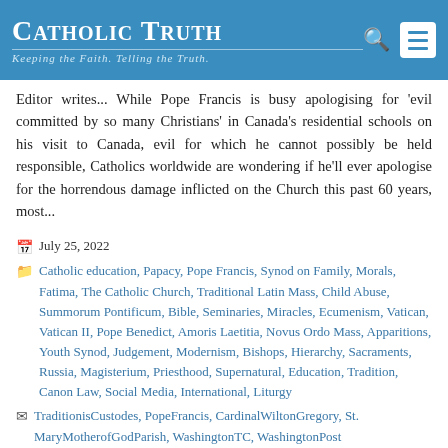Catholic Truth – Keeping the Faith. Telling the Truth.
Editor writes... While Pope Francis is busy apologising for 'evil committed by so many Christians' in Canada's residential schools on his visit to Canada, evil for which he cannot possibly be held responsible, Catholics worldwide are wondering if he'll ever apologise for the horrendous damage inflicted on the Church this past 60 years, most...
July 25, 2022
Catholic education, Papacy, Pope Francis, Synod on Family, Morals, Fatima, The Catholic Church, Traditional Latin Mass, Child Abuse, Summorum Pontificum, Bible, Seminaries, Miracles, Ecumenism, Vatican, Vatican II, Pope Benedict, Amoris Laetitia, Novus Ordo Mass, Apparitions, Youth Synod, Judgement, Modernism, Bishops, Hierarchy, Sacraments, Russia, Magisterium, Priesthood, Supernatural, Education, Tradition, Canon Law, Social Media, International, Liturgy
TraditionisCustodes, PopeFrancis, CardinalWiltonGregory, St. MaryMotherofGodParish, WashingtonTC, WashingtonPost
27 Comments